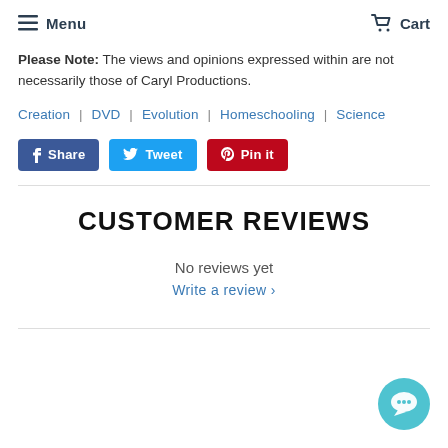Menu  Cart
Please Note: The views and opinions expressed within are not necessarily those of Caryl Productions.
Creation  |  DVD  |  Evolution  |  Homeschooling  |  Science
[Figure (other): Social share buttons: Share (Facebook), Tweet (Twitter), Pin it (Pinterest)]
CUSTOMER REVIEWS
No reviews yet
Write a review ›